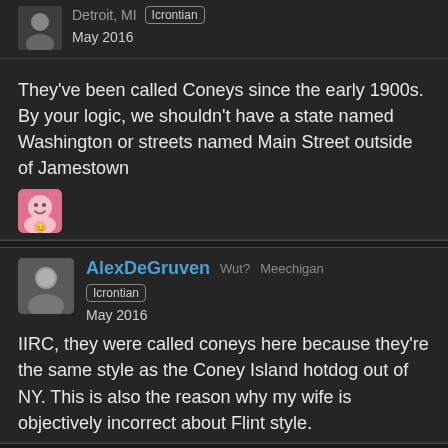Detroit, MI  Icrontian  May 2016
They've been called Coneys since the early 1900s. By your logic, we shouldn't have a state named Washington or streets named Main Street outside of Jamestown
[Figure (illustration): Emoji reaction icon]
AlexDeGruven  Wut?  Meechigan  Icrontian  May 2016
IIRC, they were called coneys here because they're the same style as the Coney Island hotdog out of NY. This is also the reason why my wife is objectively incorrect about Flint style.
d3k0y  Loveland, OH  Icrontian